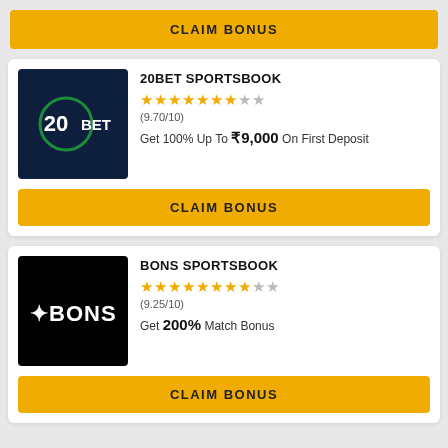CLAIM BONUS
[Figure (logo): 20BET logo on dark navy background]
20BET SPORTSBOOK
★★★★★★★☆☆ (9.70/10)
Get 100% Up To ₹9,000 On First Deposit
CLAIM BONUS
[Figure (logo): BONS logo on black background]
BONS SPORTSBOOK
★★★★★★★★☆☆ (9.25/10)
Get 200% Match Bonus
CLAIM BONUS